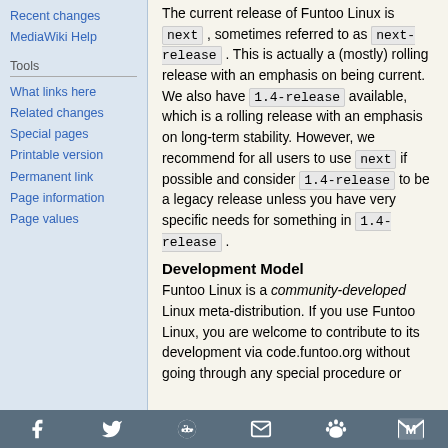Recent changes
MediaWiki Help
Tools
What links here
Related changes
Special pages
Printable version
Permanent link
Page information
Page values
The current release of Funtoo Linux is next , sometimes referred to as next-release . This is actually a (mostly) rolling release with an emphasis on being current. We also have 1.4-release available, which is a rolling release with an emphasis on long-term stability. However, we recommend for all users to use next if possible and consider 1.4-release to be a legacy release unless you have very specific needs for something in 1.4-release .
Development Model
Funtoo Linux is a community-developed Linux meta-distribution. If you use Funtoo Linux, you are welcome to contribute to its development via code.funtoo.org without going through any special procedure or
Social share icons: Facebook, Twitter, Reddit, Email, Paw/Funtoo, Gmail